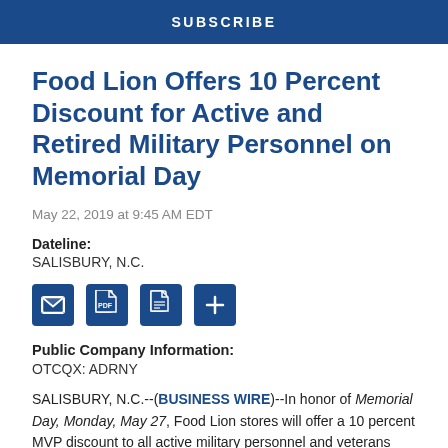SUBSCRIBE
Food Lion Offers 10 Percent Discount for Active and Retired Military Personnel on Memorial Day
May 22, 2019 at 9:45 AM EDT
Dateline:
SALISBURY, N.C.
[Figure (other): Row of four icon buttons: email/envelope, PDF, document/print, and plus/add icons]
Public Company Information:
OTCQX: ADRNY
SALISBURY, N.C.--(BUSINESS WIRE)--In honor of Memorial Day, Monday, May 27, Food Lion stores will offer a 10 percent MVP discount to all active military personnel and veterans...